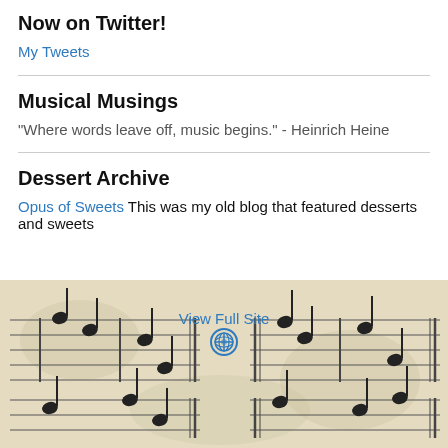Now on Twitter!
My Tweets
Musical Musings
"Where words leave off, music begins." - Heinrich Heine
Dessert Archive
Opus of Sweets This was my old blog that featured desserts and sweets
[Figure (illustration): Background image of old musical sheet notation with handwritten notes on aged parchment paper]
View Full Site